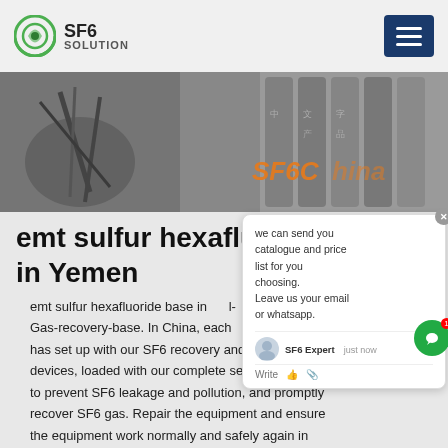SF6 SOLUTION
[Figure (photo): Banner photo showing industrial gas cylinders and equipment, with 'SF6China' text overlay in orange]
emt sulfur hexafluoride in Yemen
emt sulfur hexafluoride base in m l-Gas-recovery-base. In China, each ces has set up with our SF6 recovery and purification devices, loaded with our complete set of equipment to prevent SF6 leakage and pollution, and promptly recover SF6 gas. Repair the equipment and ensure the equipment work normally and safely again in the shortest time.
Get Price